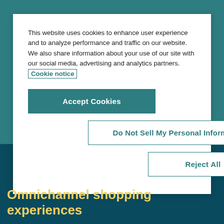This website uses cookies to enhance user experience and to analyze performance and traffic on our website. We also share information about your use of our site with our social media, advertising and analytics partners. Cookie notice
Accept Cookies
Do Not Sell My Personal Information
Reject All
Omnichannel shopping experiences